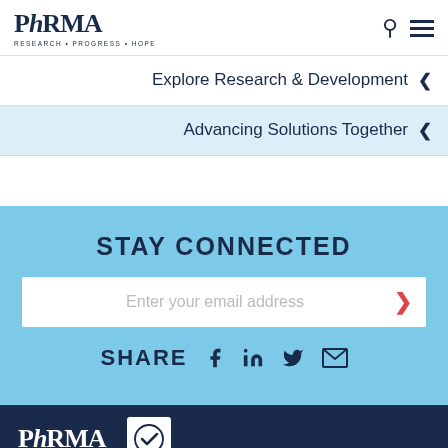[Figure (logo): PhRMA logo with tagline RESEARCH • PROGRESS • HOPE]
Explore Research & Development
Advancing Solutions Together
STAY CONNECTED
Enter your email address
SHARE
[Figure (logo): PhRMA footer logo on dark navy background with certification icon]